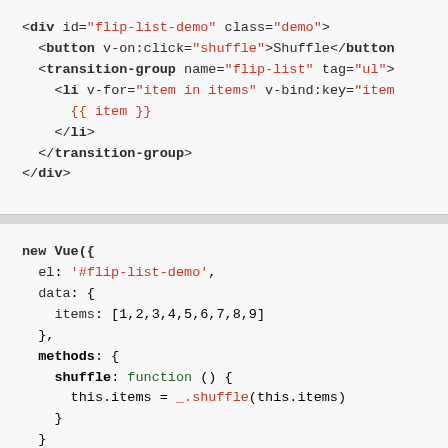<div id="flip-list-demo" class="demo">
  <button v-on:click="shuffle">Shuffle</button
  <transition-group name="flip-list" tag="ul">
    <li v-for="item in items" v-bind:key="item
      {{ item }}
    </li>
  </transition-group>
</div>
new Vue({
  el: '#flip-list-demo',
  data: {
    items: [1,2,3,4,5,6,7,8,9]
  },
  methods: {
    shuffle: function () {
      this.items = _.shuffle(this.items)
    }
  }
})